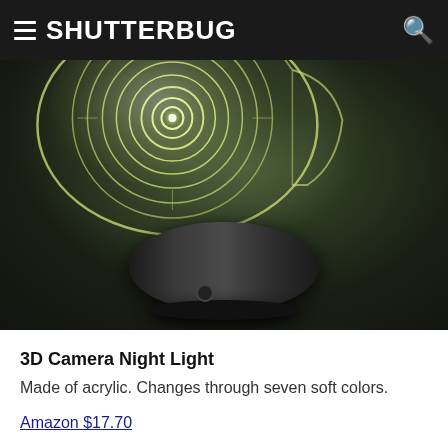SHUTTERBUG
[Figure (photo): 3D Camera Night Light product photo showing glowing acrylic panel with camera lens engraving on a black cylindrical base, photographed against a dark background with green-tinted surface]
3D Camera Night Light
Made of acrylic. Changes through seven soft colors.
Amazon $17.70